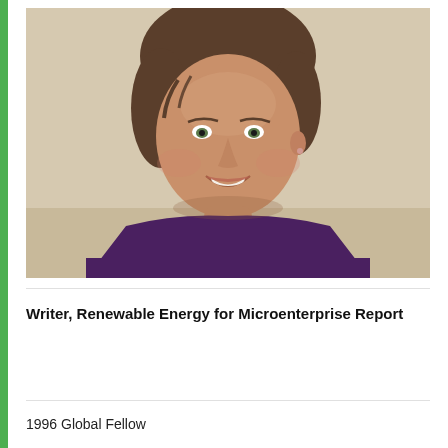[Figure (photo): Headshot photo of a smiling woman with short brown hair wearing a purple top, against a neutral background]
Writer, Renewable Energy for Microenterprise Report
1996 Global Fellow